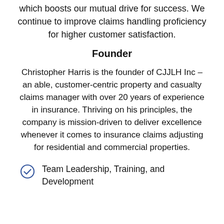which boosts our mutual drive for success. We continue to improve claims handling proficiency for higher customer satisfaction.
Founder
Christopher Harris is the founder of CJJLH Inc – an able, customer-centric property and casualty claims manager with over 20 years of experience in insurance. Thriving on his principles, the company is mission-driven to deliver excellence whenever it comes to insurance claims adjusting for residential and commercial properties.
Team Leadership, Training, and Development